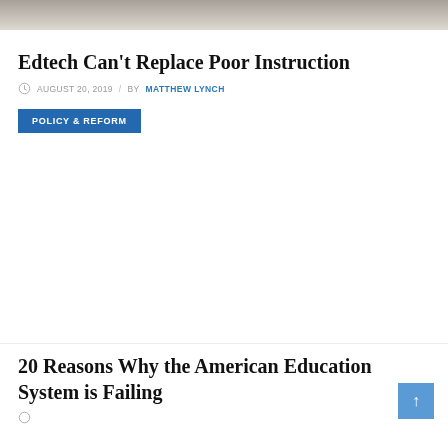[Figure (photo): Partial photo strip at the top of the page showing a blurred desk/laptop scene]
Edtech Can’t Replace Poor Instruction
AUGUST 20, 2019 / BY MATTHEW LYNCH
POLICY & REFORM
20 Reasons Why the American Education System is Failing